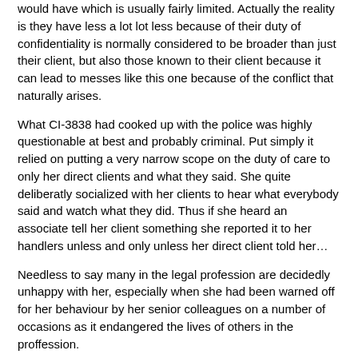would have which is usually fairly limited. Actually the reality is they have less a lot lot less because of their duty of confidentiality is normally considered to be broader than just their client, but also those known to their client because it can lead to messes like this one because of the conflict that naturally arises.
What CI-3838 had cooked up with the police was highly questionable at best and probably criminal. Put simply it relied on putting a very narrow scope on the duty of care to only her direct clients and what they said. She quite deliberatly socialized with her clients to hear what everybody said and watch what they did. Thus if she heard an associate tell her client something she reported it to her handlers unless and only unless her direct client told her…
Needless to say many in the legal profession are decidedly unhappy with her, especially when she had been warned off for her behaviour by her senior colleagues on a number of occasions as it endangered the lives of others in the proffession.
The fact she is now trying to get compensation for her chosen[1] behaviour from the authorities, is rather more than